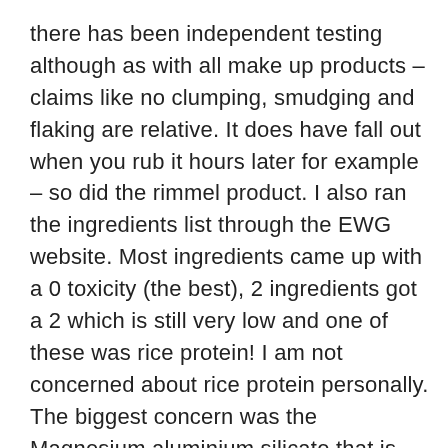there has been independent testing although as with all make up products – claims like no clumping, smudging and flaking are relative. It does have fall out when you rub it hours later for example – so did the rimmel product. I also ran the ingredients list through the EWG website. Most ingredients came up with a 0 toxicity (the best), 2 ingredients got a 2 which is still very low and one of these was rice protein! I am not concerned about rice protein personally. The biggest concern was the Magnesium aluminium silicate that is ranked a 4 or moderately toxic. It is a fair way down the ingredients list so the amount should be quite small but it is implicated in developmental and reproductive and neurotoxic issues – never things you want to subjecting yourself too. If they could leave that out it would be near perfect. As I am not sure how much is in the product I can't defiantly say this product is not toxic but